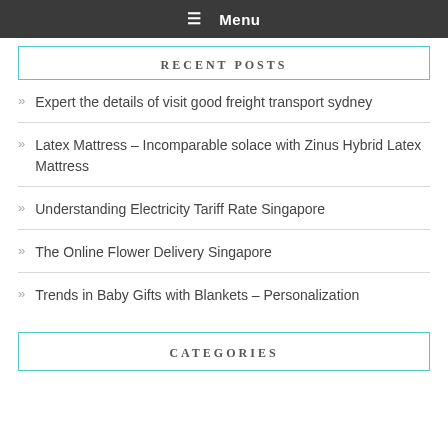☰ Menu
RECENT POSTS
Expert the details of visit good freight transport sydney
Latex Mattress – Incomparable solace with Zinus Hybrid Latex Mattress
Understanding Electricity Tariff Rate Singapore
The Online Flower Delivery Singapore
Trends in Baby Gifts with Blankets – Personalization
CATEGORIES